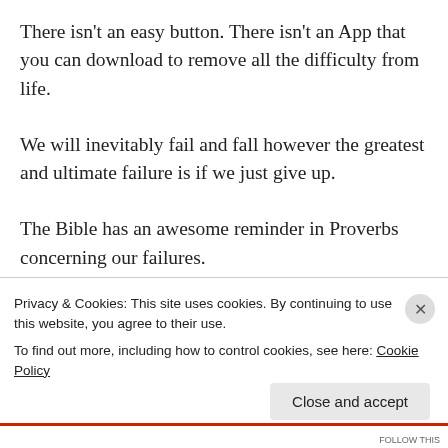There isn't an easy button. There isn't an App that you can download to remove all the difficulty from life.
We will inevitably fail and fall however the greatest and ultimate failure is if we just give up.
The Bible has an awesome reminder in Proverbs concerning our failures.
Privacy & Cookies: This site uses cookies. By continuing to use this website, you agree to their use.
To find out more, including how to control cookies, see here: Cookie Policy
Close and accept